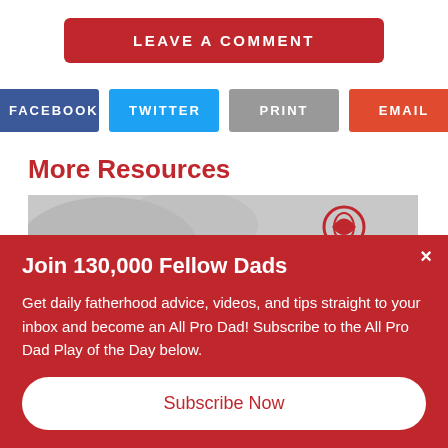LEAVE A COMMENT
FACEBOOK | TWITTER | PRINT | EMAIL
More Resources
[Figure (photo): All Pro Dad banner image with Dungy Diaries logo]
Join 130,000 Fellow Dads
Get daily fatherhood advice, videos, and tips straight to your inbox and become an All Pro Dad! Subscribe to the All Pro Dad Play of the Day below.
Subscribe Now